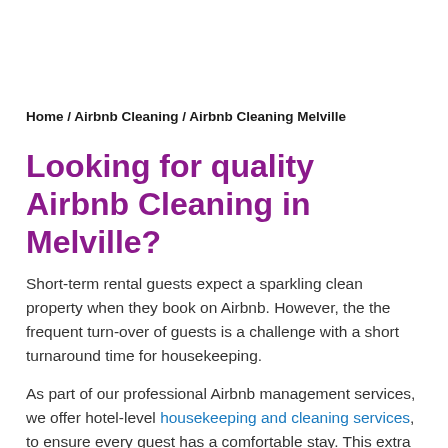Home / Airbnb Cleaning / Airbnb Cleaning Melville
Looking for quality Airbnb Cleaning in Melville?
Short-term rental guests expect a sparkling clean property when they book on Airbnb. However, the the frequent turn-over of guests is a challenge with a short turnaround time for housekeeping.
As part of our professional Airbnb management services, we offer hotel-level housekeeping and cleaning services, to ensure every guest has a comfortable stay. This extra level of service will help you earn more 5-star reviews for your property that